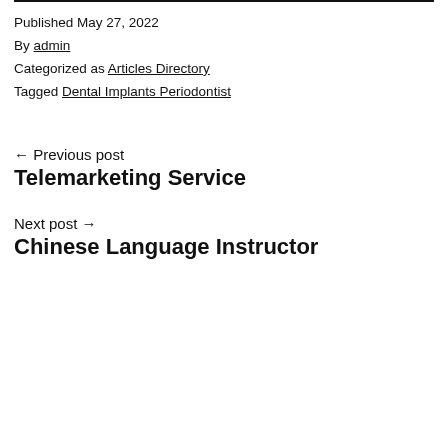Published May 27, 2022
By admin
Categorized as Articles Directory
Tagged Dental Implants Periodontist
← Previous post
Telemarketing Service
Next post →
Chinese Language Instructor